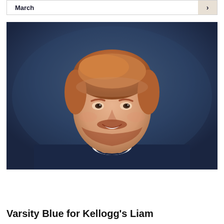March ›
[Figure (photo): Headshot of a young man with reddish-brown hair and beard, smiling, wearing a dark navy sports jersey with white collar, against a dark blue background.]
Varsity Blue for Kellogg's Liam